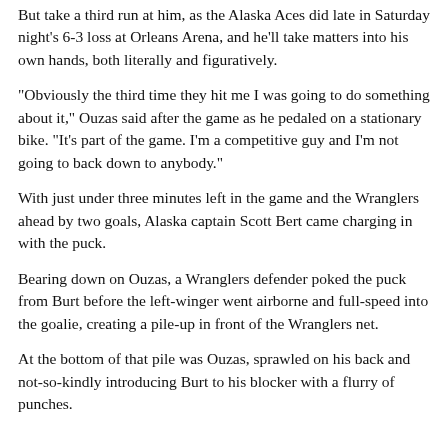But take a third run at him, as the Alaska Aces did late in Saturday night's 6-3 loss at Orleans Arena, and he'll take matters into his own hands, both literally and figuratively.
"Obviously the third time they hit me I was going to do something about it," Ouzas said after the game as he pedaled on a stationary bike. "It's part of the game. I'm a competitive guy and I'm not going to back down to anybody."
With just under three minutes left in the game and the Wranglers ahead by two goals, Alaska captain Scott Bert came charging in with the puck.
Bearing down on Ouzas, a Wranglers defender poked the puck from Burt before the left-winger went airborne and full-speed into the goalie, creating a pile-up in front of the Wranglers net.
At the bottom of that pile was Ouzas, sprawled on his back and not-so-kindly introducing Burt to his blocker with a flurry of punches.